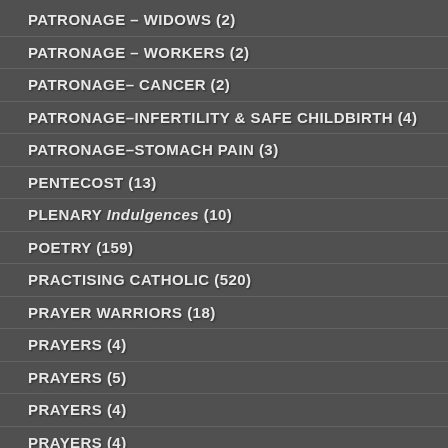PATRONAGE – WIDOWS (2)
PATRONAGE – WORKERS (2)
PATRONAGE– CANCER (2)
PATRONAGE–INFERTILITY & SAFE CHILDBIRTH (4)
PATRONAGE–STOMACH PAIN (3)
PENTECOST (13)
PLENARY Indulgences (10)
POETRY (159)
PRACTISING CATHOLIC (520)
PRAYER WARRIORS (18)
PRAYERS (4)
PRAYERS (5)
PRAYERS (4)
PRAYERS (4)